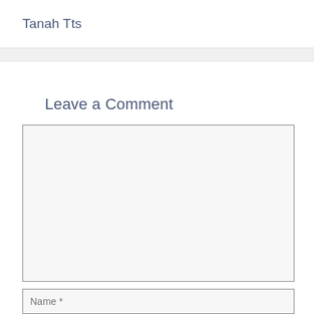Tanah Tts
Leave a Comment
Name *